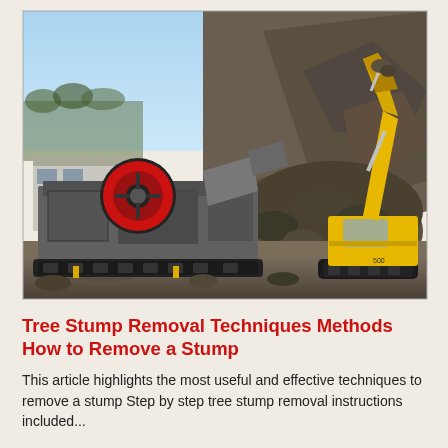[Figure (photo): Outdoor mining or quarry site. In the foreground, a large industrial crusher machine with a prominent red flywheel. In the background-right, a yellow hydraulic excavator loads rocks onto a large pile of crushed stone. Clear blue sky and hillside visible in the background.]
Tree Stump Removal Techniques Methods How to Remove a Stump
This article highlights the most useful and effective techniques to remove a stump Step by step tree stump removal instructions included...